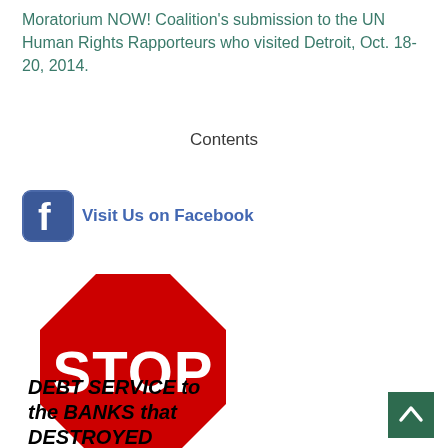Moratorium NOW! Coalition's submission to the UN Human Rights Rapporteurs who visited Detroit, Oct. 18-20, 2014.
Contents
[Figure (logo): Facebook logo icon with 'Visit Us on Facebook' link text]
[Figure (illustration): A red octagonal STOP sign with white border and white text reading STOP]
DEBT SERVICE to the BANKS that DESTROYED DETROIT!
[Figure (other): Back to top button — dark green square with upward white chevron arrow]